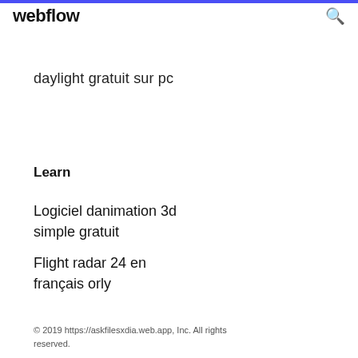webflow
daylight gratuit sur pc
Learn
Logiciel danimation 3d simple gratuit
Flight radar 24 en français orly
© 2019 https://askfilesxdia.web.app, Inc. All rights reserved.